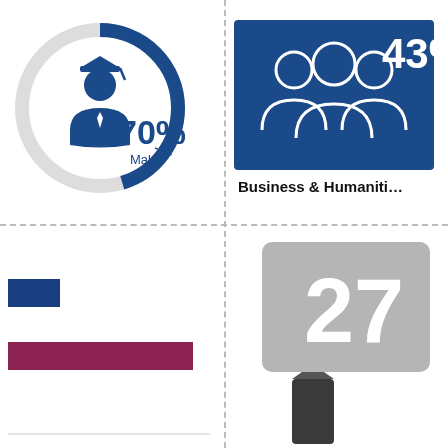[Figure (infographic): Donut/pie chart showing 70% Male, with a graduation cap student icon in the center, dark blue arc representing the majority segment]
70%
Male
[Figure (infographic): Blue rectangle box with group of people (team/community) icon in white outline on the left, and 43% text in white on the upper right]
43%
Business & Humanities
[Figure (bar-chart): Partial horizontal bar chart, two bars visible: a short dark blue bar and a longer maroon/dark red bar]
[Figure (infographic): Gray rounded rectangle with large number 27 in white, with a dark pencil/pen icon below]
27